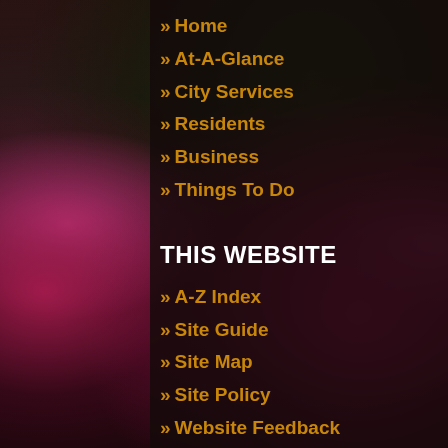[Figure (photo): Background photo of pink echinacea/coneflowers with dark semi-transparent overlay panel showing website navigation menu]
Home
At-A-Glance
City Services
Residents
Business
Things To Do
THIS WEBSITE
A-Z Index
Site Guide
Site Map
Site Policy
Website Feedback
RESOURCES
Archives